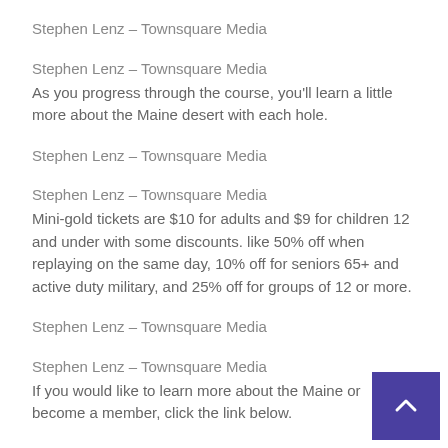Stephen Lenz – Townsquare Media
Stephen Lenz – Townsquare Media
As you progress through the course, you'll learn a little more about the Maine desert with each hole.
Stephen Lenz – Townsquare Media
Stephen Lenz – Townsquare Media
Mini-gold tickets are $10 for adults and $9 for children 12 and under with some discounts. like 50% off when replaying on the same day, 10% off for seniors 65+ and active duty military, and 25% off for groups of 12 or more.
Stephen Lenz – Townsquare Media
Stephen Lenz – Townsquare Media
If you would like to learn more about the Maine or become a member, click the link below.